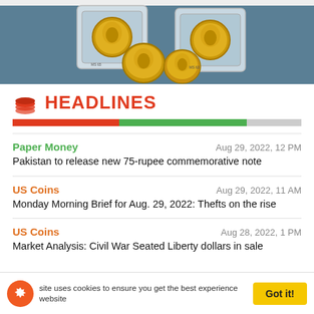[Figure (photo): Photo of gold coins, some in plastic PCGS/NGC slabs, displayed on a teal/dark background]
HEADLINES
Paper Money | Aug 29, 2022, 12 PM | Pakistan to release new 75-rupee commemorative note
US Coins | Aug 29, 2022, 11 AM | Monday Morning Brief for Aug. 29, 2022: Thefts on the rise
US Coins | Aug 28, 2022, 1 PM | Market Analysis: Civil War Seated Liberty dollars in sale
This site uses cookies to ensure you get the best experience on our website